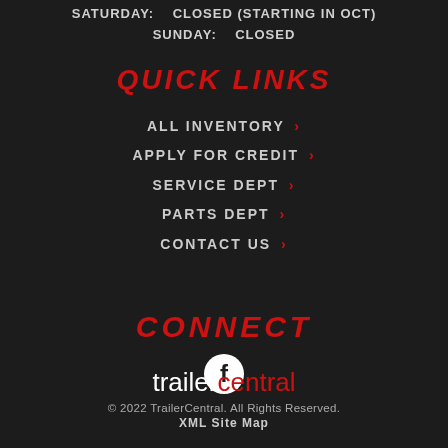SATURDAY:    CLOSED (STARTING IN OCT)
SUNDAY:    CLOSED
QUICK LINKS
ALL INVENTORY >
APPLY FOR CREDIT >
SERVICE DEPT >
PARTS DEPT >
CONTACT US >
CONNECT
[Figure (logo): Facebook logo icon white circle with f]
[Figure (logo): trailercentral logo text]
© 2022 TrailerCentral. All Rights Reserved. XML Site Map